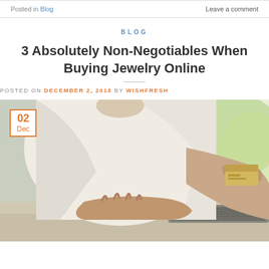Posted in Blog   Leave a comment
BLOG
3 Absolutely Non-Negotiables When Buying Jewelry Online
POSTED ON DECEMBER 2, 2018 BY WISHFRESH
[Figure (photo): Person in white shirt holding a credit card and typing on a laptop, with a date badge showing 02 Dec in orange on white in the upper left corner of the image]